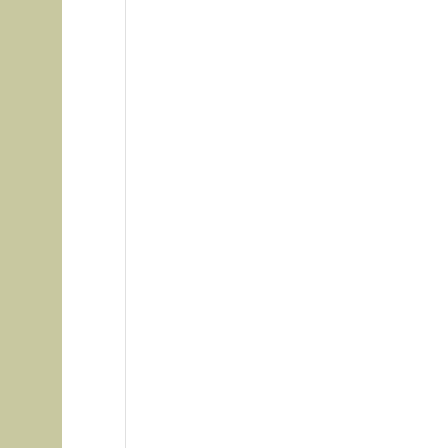Thread: Calling all guru
Threa
04-07-2009, 08:43 PM
nick34
Join Date: Apr 2009
Location: jacksonville,fl
Posts: 563